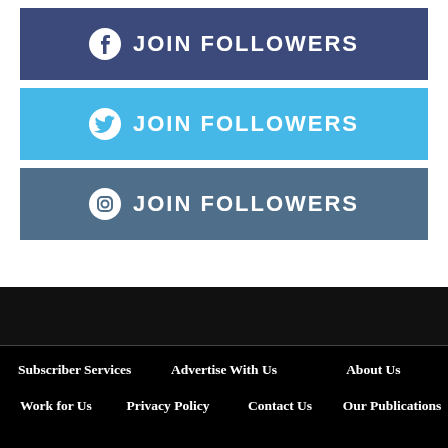[Figure (infographic): Facebook JOIN FOLLOWERS button — dark blue/navy bar with Facebook icon and text]
[Figure (infographic): Twitter JOIN FOLLOWERS button — light blue bar with Twitter bird icon and text]
[Figure (infographic): Instagram JOIN FOLLOWERS button — steel blue/grey bar with Instagram icon and text]
Subscriber Services   Advertise With Us   About Us   Work for Us   Privacy Policy   Contact Us   Our Publications